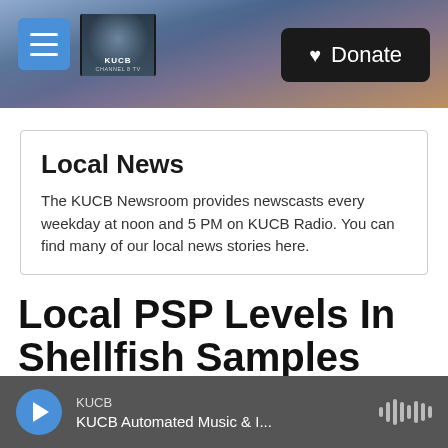KUCB Channel 8 TV — Header Banner with Donate button
Local News
The KUCB Newsroom provides newscasts every weekday at noon and 5 PM on KUCB Radio. You can find many of our local news stories here.
Local PSP Levels In Shellfish Samples Test Dangerously High
KUCB — KUCB Automated Music & I...